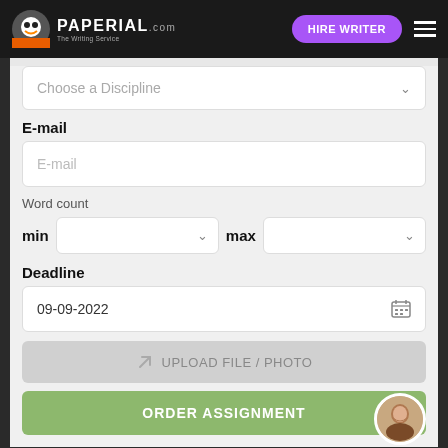PAPERIAL.com — Hire Writer navigation bar
Choose a Discipline
E-mail
E-mail
Word count
min
max
Deadline
09-09-2022
UPLOAD FILE / PHOTO
ORDER ASSIGNMENT